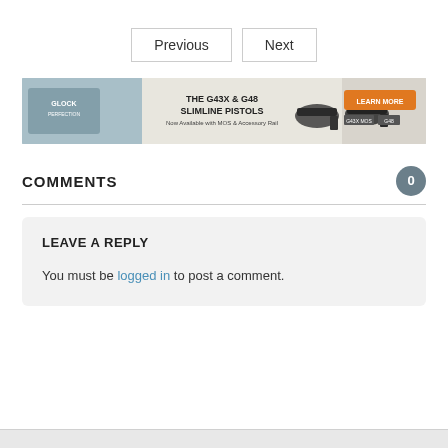Previous    Next
[Figure (infographic): Glock advertisement banner for the G43X & G48 Slimline Pistols, now available with MOS & Accessory Rail. Features Glock logo, two pistol images, and an orange Learn More button.]
COMMENTS
LEAVE A REPLY
You must be logged in to post a comment.